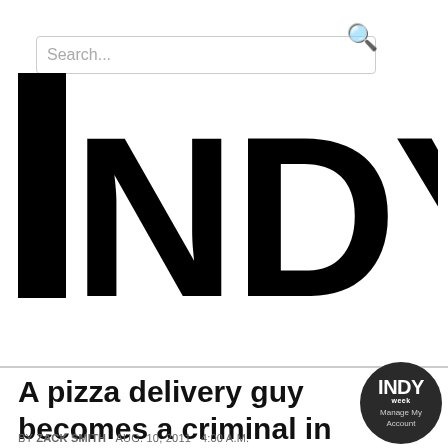Search...
[Figure (logo): INDY week logo — large black bold text 'INDY' with 'week' rotated vertically on the right side]
[Figure (other): Hamburger menu icon — three horizontal black bars]
A pizza delivery guy becomes a criminal in 30 Minutes or Less
BY ZACK SMITH   AUG. 10, 2011   4:00 A.M.
[Figure (logo): INDY week circular badge with 'Manage My Account' text]